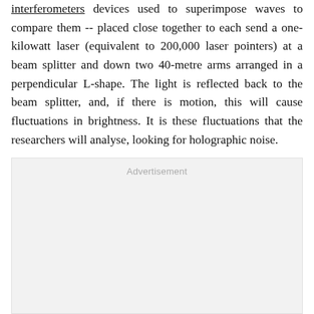The Holometer uses a pair of interferometers -- devices used to superimpose waves to compare them -- placed close together to each send a one-kilowatt laser (equivalent to 200,000 laser pointers) at a beam splitter and down two 40-metre arms arranged in a perpendicular L-shape. The light is reflected back to the beam splitter, and, if there is motion, this will cause fluctuations in brightness. It is these fluctuations that the researchers will analyse, looking for holographic noise.
[Figure (other): Advertisement placeholder box]